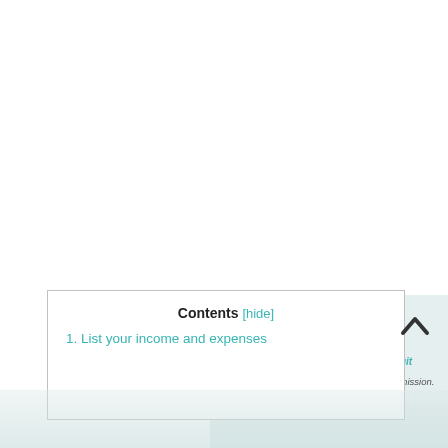Contents [hide]
1. List your income and expenses
alleges during images. To best suit conditions audio recordings found for this mission.